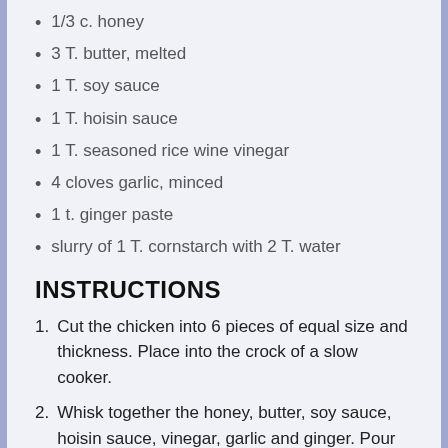1/3 c. honey
3 T. butter, melted
1 T. soy sauce
1 T. hoisin sauce
1 T. seasoned rice wine vinegar
4 cloves garlic, minced
1 t. ginger paste
slurry of 1 T. cornstarch with 2 T. water
INSTRUCTIONS
Cut the chicken into 6 pieces of equal size and thickness. Place into the crock of a slow cooker.
Whisk together the honey, butter, soy sauce, hoisin sauce, vinegar, garlic and ginger. Pour over the chicken and flip to coat.